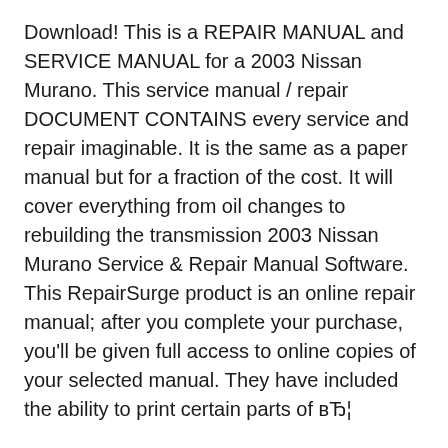Download! This is a REPAIR MANUAL and SERVICE MANUAL for a 2003 Nissan Murano. This service manual / repair DOCUMENT CONTAINS every service and repair imaginable. It is the same as a paper manual but for a fraction of the cost. It will cover everything from oil changes to rebuilding the transmission 2003 Nissan Murano Service & Repair Manual Software. This RepairSurge product is an online repair manual; after you complete your purchase, you'll be given full access to online copies of your selected manual. They have included the ability to print certain parts of вЂ¦
Original Factory 2003 Nissan Murano Service Repair Manual is a Complete Informational